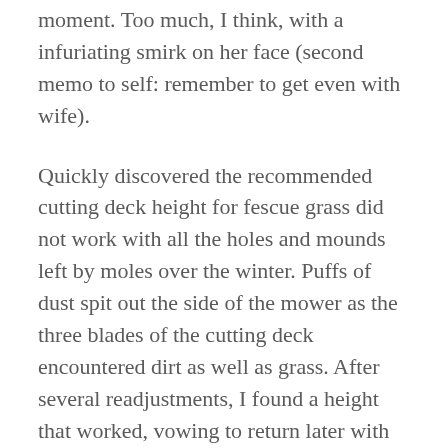moment. Too much, I think, with a infuriating smirk on her face (second memo to self: remember to get even with wife).
Quickly discovered the recommended cutting deck height for fescue grass did not work with all the holes and mounds left by moles over the winter. Puffs of dust spit out the side of the mower as the three blades of the cutting deck encountered dirt as well as grass. After several readjustments, I found a height that worked, vowing to return later with an aerator and roller to take care of the mole holes.
An hour-and-a-half into mowing the great